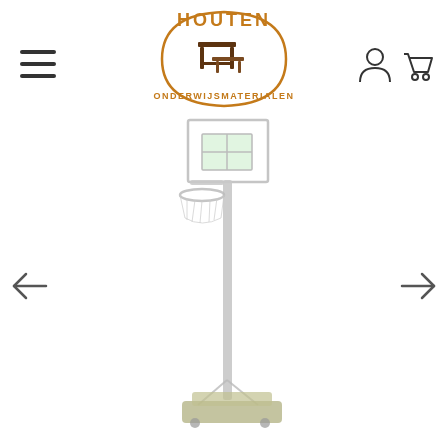[Figure (logo): Houten Onderwijsmaterialen logo with wooden school desk and bench illustration and orange text]
[Figure (illustration): Portable basketball hoop/stand with transparent backboard, orange rim, and weighted base on wheels. Light gray/faded appearance.]